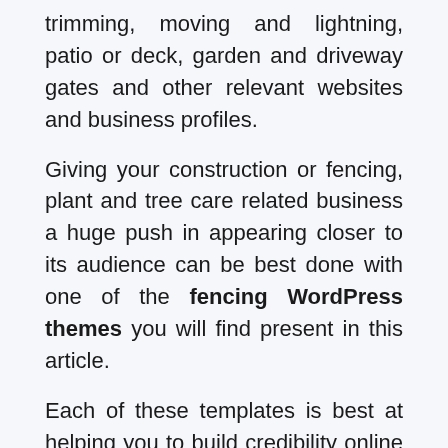trimming, moving and lightning, patio or deck, garden and driveway gates and other relevant websites and business profiles.
Giving your construction or fencing, plant and tree care related business a huge push in appearing closer to its audience can be best done with one of the fencing WordPress themes you will find present in this article.
Each of these templates is best at helping you to build credibility online with your informative website and the best items of portfolio as well as